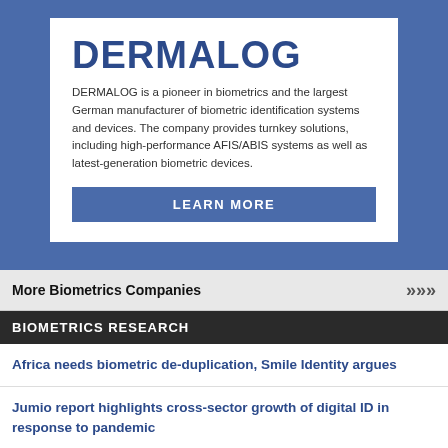[Figure (infographic): DERMALOG company advertisement banner on blue background with white card containing logo, description text, and Learn More button]
DERMALOG
DERMALOG is a pioneer in biometrics and the largest German manufacturer of biometric identification systems and devices. The company provides turnkey solutions, including high-performance AFIS/ABIS systems as well as latest-generation biometric devices.
LEARN MORE
More Biometrics Companies
BIOMETRICS RESEARCH
Africa needs biometric de-duplication, Smile Identity argues
Jumio report highlights cross-sector growth of digital ID in response to pandemic
IDC report projects AR/VR trend to boost biometrics spending in Europe